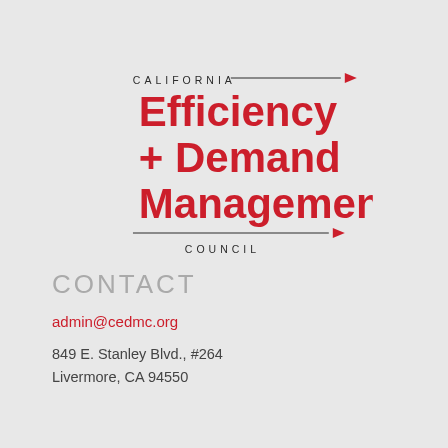[Figure (logo): California Efficiency + Demand Management Council logo with red bold text and decorative horizontal rules with red arrows]
CONTACT
admin@cedmc.org
849 E. Stanley Blvd., #264
Livermore, CA 94550